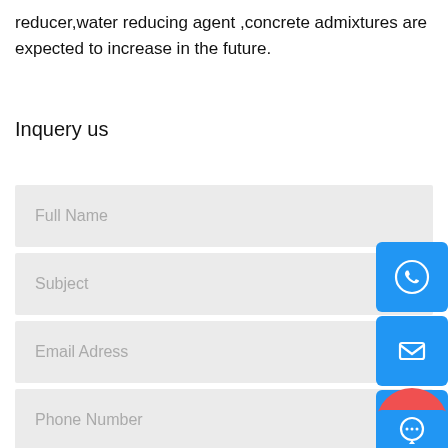reducer,water reducing agent ,concrete admixtures are expected to increase in the future.
Inquery us
Full Name
Subject
Email Adress
Phone Number